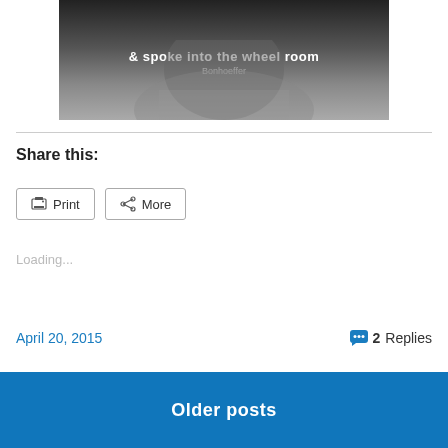[Figure (photo): Black and white portrait photo with text overlay showing a partial title and the name 'Bonhoeffer']
Share this:
Print  More
Loading...
April 20, 2015
2 Replies
Older posts